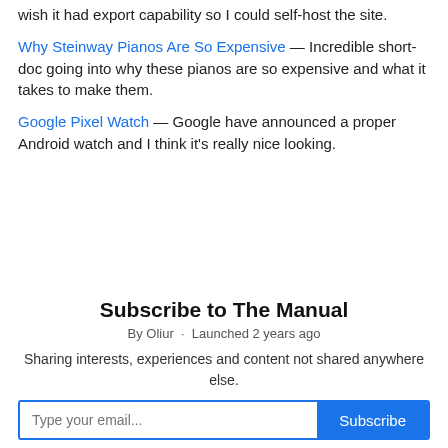wish it had export capability so I could self-host the site.
Why Steinway Pianos Are So Expensive — Incredible short-doc going into why these pianos are so expensive and what it takes to make them.
Google Pixel Watch — Google have announced a proper Android watch and I think it's really nice looking.
Subscribe to The Manual
By Oliur · Launched 2 years ago
Sharing interests, experiences and content not shared anywhere else.